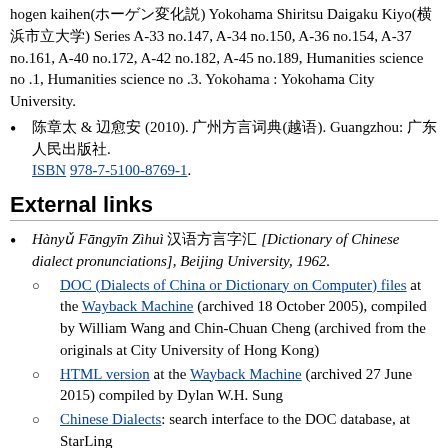hogen kaihen(■■■■■■■■■) Yokohama Shiritsu Daigaku Kiyo(■■■■■■) Series A-33 no.147, A-34 no.150, A-36 no.154, A-37 no.161, A-40 no.172, A-42 no.182, A-45 no.189, Humanities science no .1, Humanities science no .3. Yokohama : Yokohama City University.
■■■ & ■■■ (2010). ■■■■■■■■■■■(■■■). Guangzhou: ■■■■■■■. ISBN 978-7-5100-8769-1.
External links
Hànyǔ Fāngyīn Zìhuì ■■■■■■ [Dictionary of Chinese dialect pronunciations], Beijing University, 1962.
DOC (Dialects of China or Dictionary on Computer) files at the Wayback Machine (archived 18 October 2005), compiled by William Wang and Chin-Chuan Cheng (archived from the originals at City University of Hong Kong)
HTML version at the Wayback Machine (archived 27 June 2015) compiled by Dylan W.H. Sung
Chinese Dialects: search interface to the DOC database, at StarLing
Hànyǔ Fāngyīn Cíhuì ■■■■■■ [Chinese dialect vocabularies], Beijing University, 1964.
CLDF dataset (Version v4.0). Zenodo.